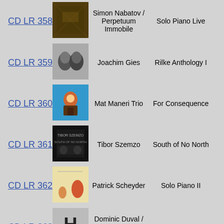CD LR 358 | Simon Nabatov / Perpetuum Immobile | Solo Piano Live
CD LR 359 | Joachim Gies | Rilke Anthology I
CD LR 360 | Mat Maneri Trio | For Consequence
CD LR 361 | Tibor Szemzo | South of No North
CD LR 362 | Patrick Scheyder | Solo Piano II
CD LR 363 | Dominic Duval / Joe Mcphee / John Heward | Undersound II
CD LR 364 | The Wally Shoup Trio | Fusillades & Lamentations
CD LR 365 | Actis Band | Garibaldi